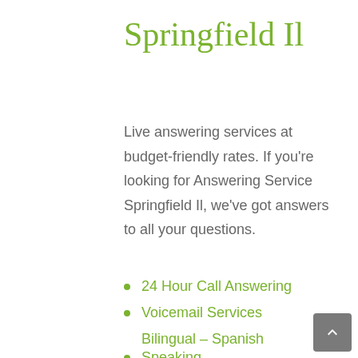Springfield Il
Live answering services at budget-friendly rates. If you're looking for Answering Service Springfield Il, we've got answers to all your questions.
24 Hour Call Answering
Voicemail Services
Bilingual – Spanish Speaking